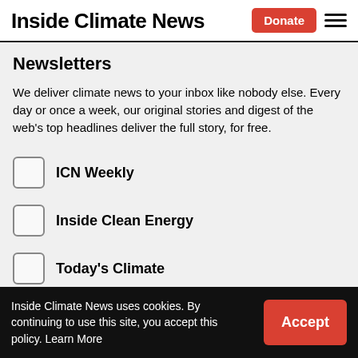Inside Climate News
Newsletters
We deliver climate news to your inbox like nobody else. Every day or once a week, our original stories and digest of the web's top headlines deliver the full story, for free.
ICN Weekly
Inside Clean Energy
Today's Climate
Breaking News
Inside Climate News uses cookies. By continuing to use this site, you accept this policy. Learn More